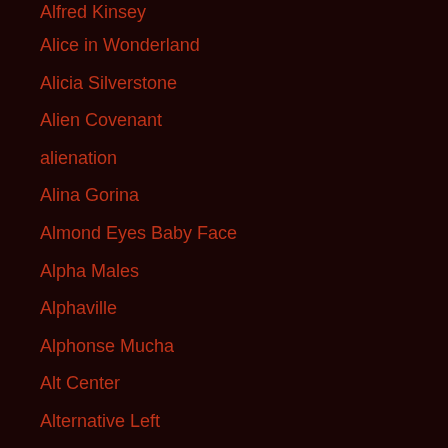Alfred Kinsey
Alice in Wonderland
Alicia Silverstone
Alien Covenant
alienation
Alina Gorina
Almond Eyes Baby Face
Alpha Males
Alphaville
Alphonse Mucha
Alt Center
Alternative Left
Alternative Right
Altruism
American Beauty